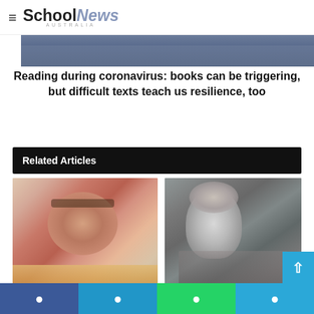SchoolNews AUSTRALIA
[Figure (photo): Person reading books, seen from above; stacks of books on a desk with a blue-clad figure.]
Reading during coronavirus: books can be triggering, but difficult texts teach us resilience, too
Related Articles
[Figure (photo): Young girl with glasses resting her head on stacked books, wearing a red shirt, frustrated expression.]
[Figure (photo): Black and white vintage portrait of a woman in a sleeveless dress, 1920s style.]
Facebook  Twitter  WhatsApp  Telegram